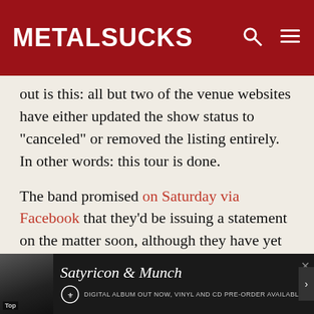MetalSucks
out is this: all but two of the venue websites have either updated the show status to “canceled” or removed the listing entirely. In other words: this tour is done.
The band promised on Saturday via Facebook that they’d be issuing a statement on the matter soon, although they have yet to do so. That was before the latest round of cancelations.
- ADVERTISEMENT -
[Figure (screenshot): Advertisement banner for Satyricon & Munch album - dark background with album artwork thumbnail, italic serif title 'Satyricon & Munch', subtitle 'DIGITAL ALBUM OUT NOW, VINYL AND CD PRE-ORDER AVAILABLE!' with band logo]